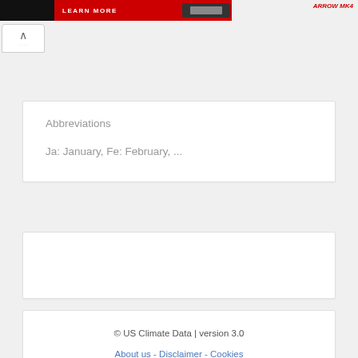[Figure (screenshot): Ad banner with LEARN MORE text on dark background with red section, and italic red text on right side]
Abbreviations
Ja: January, Fe: February, ...
© US Climate Data | version 3.0
About us - Disclaimer - Cookies